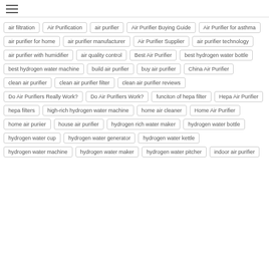≡
air filtration
Air Purification
air purifier
Air Purifier Buying Guide
Air Purifier for asthma
air purifier for home
air purifier manufacturer
Air Purifier Supplier
air purifier technology
air purifier with humidifier
air quality control
Best Air Purifier
best hydrogen water bottle
best hydrogen water machine
build air purifier
buy air purifier
China Air Purifier
clean air purifier
clean air purifier filter
clean air purifier reviews
Do Air Purifiers Really Work?
Do Air Purifiers Work?
funciton of hepa filter
Hepa Air Purifier
hepa filters
high-rich hydrogen water machine
home air cleaner
Home Air Purifier
home air puriier
house air purifier
hydrogen rich water maker
hydrogen water bottle
hydrogen water cup
hydrogen water generator
hydrogen water kettle
hydrogen water machine
hydrogen water maker
hydrogen water pitcher
indoor air purifier